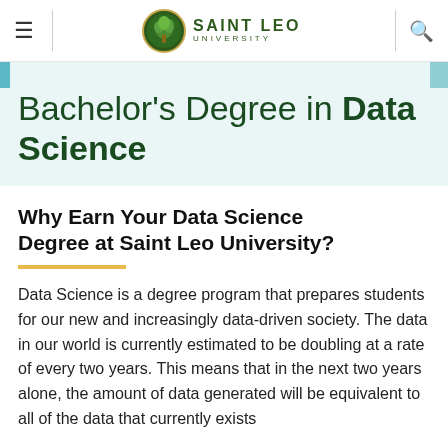Saint Leo University — Navigation bar with hamburger menu, Saint Leo University logo, and search icon
Bachelor's Degree in Data Science
Why Earn Your Data Science Degree at Saint Leo University?
Data Science is a degree program that prepares students for our new and increasingly data-driven society. The data in our world is currently estimated to be doubling at a rate of every two years. This means that in the next two years alone, the amount of data generated will be equivalent to all of the data that currently exists